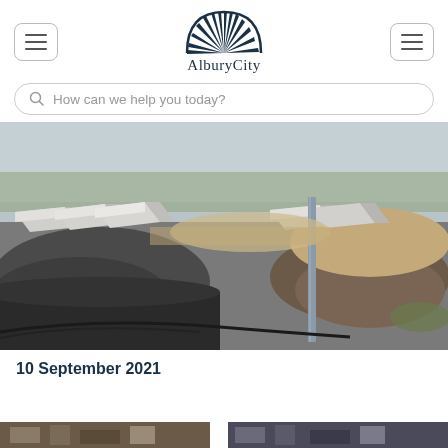AlburyCity
How can we help you today?
[Figure (photo): Construction site showing concrete kerb/drainage blocks, gravel piles, a metal pole, sandy soil and construction materials on a road or infrastructure project]
10 September 2021